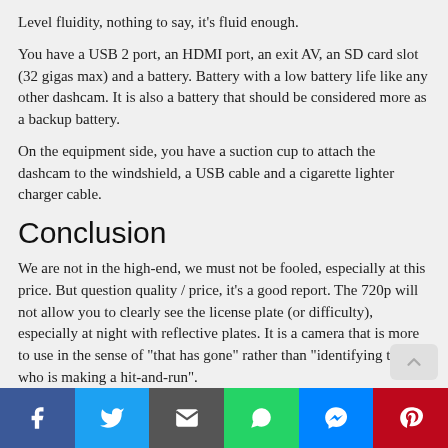Level fluidity, nothing to say, it's fluid enough.
You have a USB 2 port, an HDMI port, an exit AV, an SD card slot (32 gigas max) and a battery. Battery with a low battery life like any other dashcam. It is also a battery that should be considered more as a backup battery.
On the equipment side, you have a suction cup to attach the dashcam to the windshield, a USB cable and a cigarette lighter charger cable.
Conclusion
We are not in the high-end, we must not be fooled, especially at this price. But question quality / price, it's a good report. The 720p will not allow you to clearly see the license plate (or difficulty), especially at night with reflective plates. It is a camera that is more to use in the sense of "that has gone" rather than "identifying the one who is making a hit-and-run".